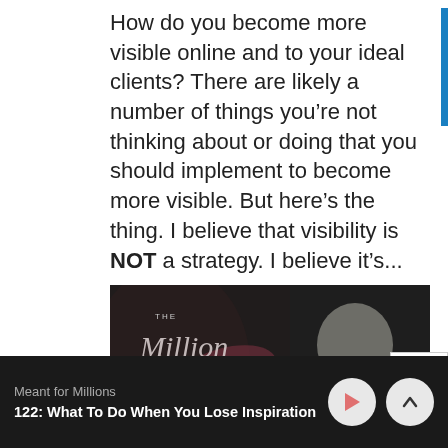How do you become more visible online and to your ideal clients? There are likely a number of things you're not thinking about or doing that you should implement to become more visible. But here's the thing. I believe that visibility is NOT a strategy. I believe it's...
[Figure (photo): Podcast thumbnail for The Million Dollar Business Podcast showing the show logo on the left with script lettering and a woman smiling on the right, dark background]
Meant for Millions
122: What To Do When You Lose Inspiration